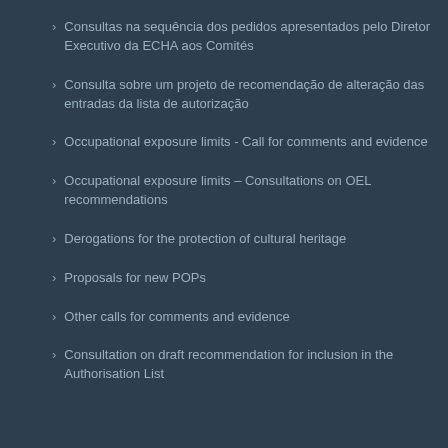Consultas na sequência dos pedidos apresentados pelo Diretor Executivo da ECHA aos Comités
Consulta sobre um projeto de recomendação de alteração das entradas da lista de autorização
Occupational exposure limits - Call for comments and evidence
Occupational exposure limits – Consultations on OEL recommendations
Derogations for the protection of cultural heritage
Proposals for new POPs
Other calls for comments and evidence
Consultation on draft recommendation for inclusion in the Authorisation List